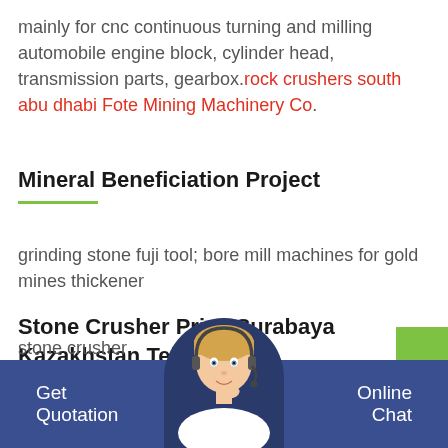mainly for cnc continuous turning and milling automobile engine block, cylinder head, transmission parts, gearbox. rock crushers south abu dhabi Fote Mining Machinery Co.
Mineral Beneficiation Project
grinding stone fuji tool; bore mill machines for gold mines thickener
Stone Crusher Price Surabaya Kazakhstan TeliQon
stone crusher unique toyoda grinding m cs . GM
Get Quotation   Online Chat